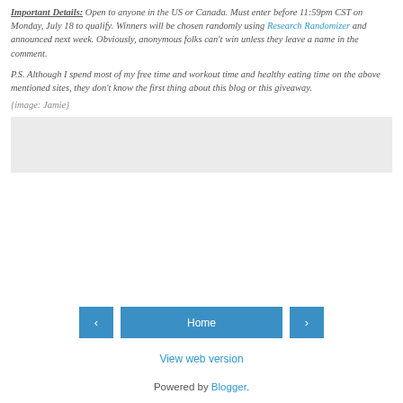Important Details: Open to anyone in the US or Canada. Must enter before 11:59pm CST on Monday, July 18 to qualify. Winners will be chosen randomly using Research Randomizer and announced next week. Obviously, anonymous folks can't win unless they leave a name in the comment.
P.S. Although I spend most of my free time and workout time and healthy eating time on the above mentioned sites, they don't know the first thing about this blog or this giveaway.
{image: Jamie}
[Figure (other): Gray placeholder box for image]
< Home >
View web version
Powered by Blogger.